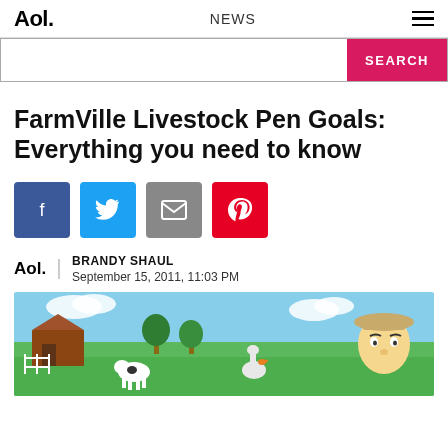Aol. | NEWS | ≡
SEARCH
FarmVille Livestock Pen Goals: Everything you need to know
[Figure (infographic): Social sharing buttons: Facebook, Twitter, Email, Pinterest]
Aol. | BRANDY SHAUL | September 15, 2011, 11:03 PM
[Figure (photo): FarmVille game screenshot showing farm with livestock, barn, animals and a farmer character]